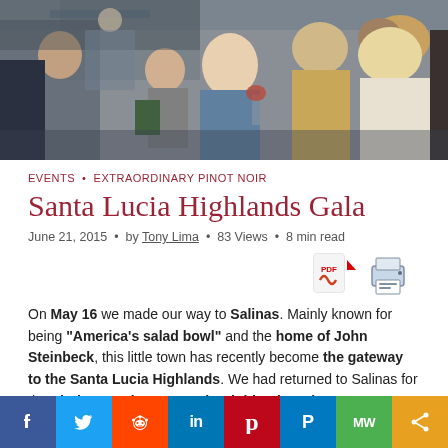[Figure (photo): Crowd of people at a wine tasting event in a large hall]
EVENTS • EXTRAORDINARY PINOT NOIR
Santa Lucia Highlands Gala
June 21, 2015 · by Tony Lima · 83 Views · 8 min read
[Figure (other): PDF download icon and print icon]
On May 16 we made our way to Salinas. Mainly known for being "America's salad bowl" and the home of John Steinbeck, this little town has recently become the gateway to the Santa Lucia Highlands. We had returned to Salinas for the ninth annual Santa Lucia Highlands Gala.
Social sharing bar: Facebook, Twitter, Reddit, LinkedIn, Pinterest, Polyvore, MW, Share